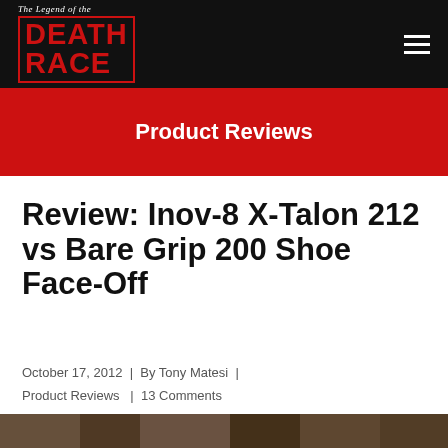The Legend of the DEATH RACE
Product Reviews
Review: Inov-8 X-Talon 212 vs Bare Grip 200 Shoe Face-Off
October 17, 2012 | By Tony Matesi | Product Reviews | 13 Comments
[Figure (photo): Partial bottom strip of an outdoor/trail image]